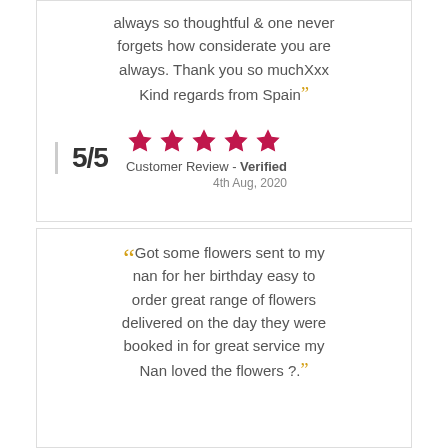always so thoughtful & one never forgets how considerate you are always. Thank you so muchXxx Kind regards from Spain”
5/5 ★★★★★ Customer Review - Verified 4th Aug, 2020
“Got some flowers sent to my nan for her birthday easy to order great range of flowers delivered on the day they were booked in for great service my Nan loved the flowers ?.”